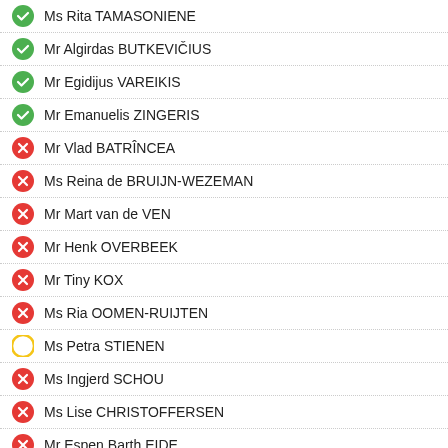Ms Rita TAMASONIENE
Mr Algirdas BUTKEVIČIUS
Mr Egidijus VAREIKIS
Mr Emanuelis ZINGERIS
Mr Vlad BATRÎNCEA
Ms Reina de BRUIJN-WEZEMAN
Mr Mart van de VEN
Mr Henk OVERBEEK
Mr Tiny KOX
Ms Ria OOMEN-RUIJTEN
Ms Petra STIENEN
Ms Ingjerd SCHOU
Ms Lise CHRISTOFFERSEN
Mr Espen Barth EIDE
Mr Petter EIDE
Ms Jette CHRISTENSEN
Mr Krzysztof MIESZKOWSKI